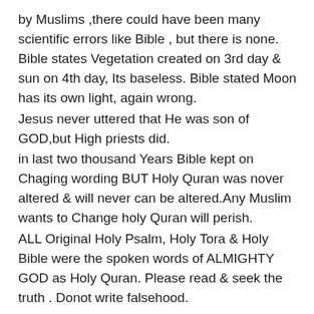by Muslims ,there could have been many scientific errors like Bible , but there is none. Bible states Vegetation created on 3rd day & sun on 4th day, Its baseless. Bible stated Moon has its own light, again wrong.
Jesus never uttered that He was son of GOD,but High priests did.
in last two thousand Years Bible kept on Chaging wording BUT Holy Quran was nover altered & will never can be altered.Any Muslim wants to Change holy Quran will perish.
ALL Original Holy Psalm, Holy Tora & Holy Bible were the spoken words of ALMIGHTY GOD as Holy Quran. Please read & seek the truth . Donot write falsehood.
Also Please read the Gospel of ST Barnabas &